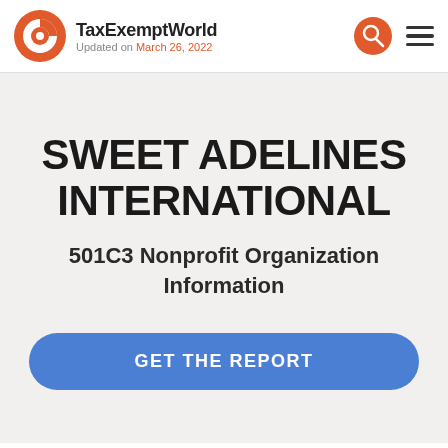TaxExemptWorld — Updated on March 26, 2022
SWEET ADELINES INTERNATIONAL
501C3 Nonprofit Organization Information
GET THE REPORT